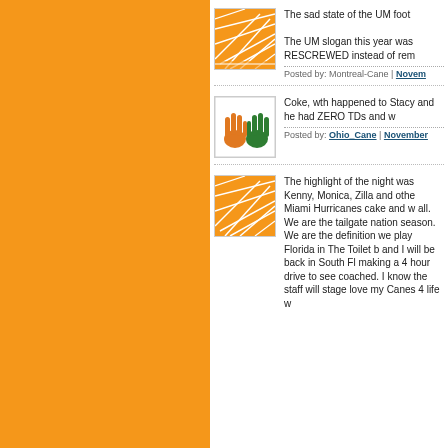The sad state of the UM foot...
The UM slogan this year was RESCREWED instead of rem...
Posted by: Montreal-Cane | Novem...
Coke, wth happened to Stacy... and he had ZERO TDs and w...
Posted by: Ohio_Cane | November...
The highlight of the night was Kenny, Monica, Zilla and othe... Miami Hurricanes cake and w... all. We are the tailgate nation season. We are the definition we play Florida in The Toilet b and I will be back in South Fl making a 4 hour drive to see coached. I know the staff will stage love my Canes 4 life w...